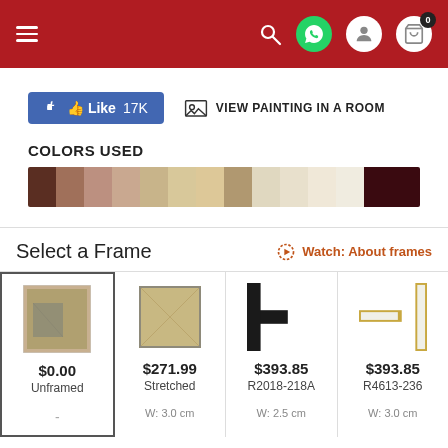[Figure (screenshot): Navigation bar with hamburger menu, search icon, WhatsApp icon, user icon, and cart icon with badge '0' on dark red background]
[Figure (infographic): Facebook Like button showing '17K' likes and 'VIEW PAINTING IN A ROOM' button with image icon]
COLORS USED
[Figure (infographic): Color swatches strip showing brown, tan, beige, cream and dark maroon colors]
Select a Frame
Watch: About frames
[Figure (infographic): Four frame options: Unframed $0.00, Stretched $271.99 W: 3.0 cm, R2018-218A $393.85 W: 2.5 cm, R4613-236 $393.85 W: 3.0 cm]